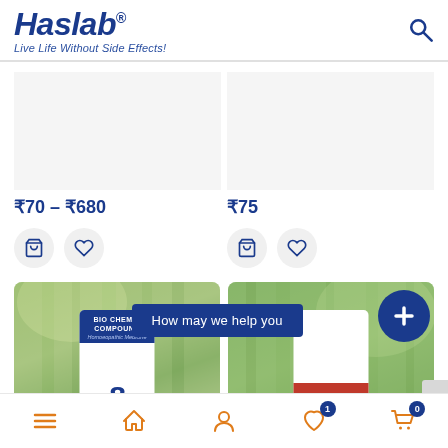[Figure (logo): Haslab logo with tagline 'Live Life Without Side Effects!']
₹70 – ₹680
₹75
[Figure (photo): Product listing with two product cards showing price tags and add-to-cart / wishlist buttons]
[Figure (photo): Two product banner images with bamboo background. Left shows Bio Chemic Compound product, right shows HC product. Center banner reads 'How may we help you' with a blue plus button.]